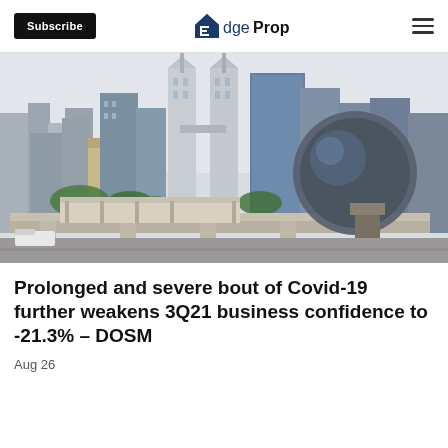Subscribe | EdgeProp
[Figure (photo): Kuala Lumpur skyline showing the Petronas Twin Towers and other skyscrapers, with a monorail track and modern transit station infrastructure in the foreground.]
Prolonged and severe bout of Covid-19 further weakens 3Q21 business confidence to -21.3% – DOSM
Aug 26